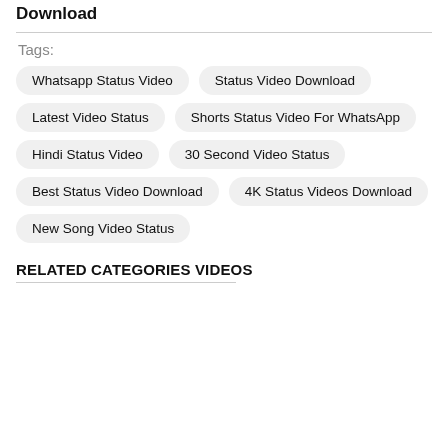Download
Tags:
Whatsapp Status Video
Status Video Download
Latest Video Status
Shorts Status Video For WhatsApp
Hindi Status Video
30 Second Video Status
Best Status Video Download
4K Status Videos Download
New Song Video Status
RELATED CATEGORIES VIDEOS